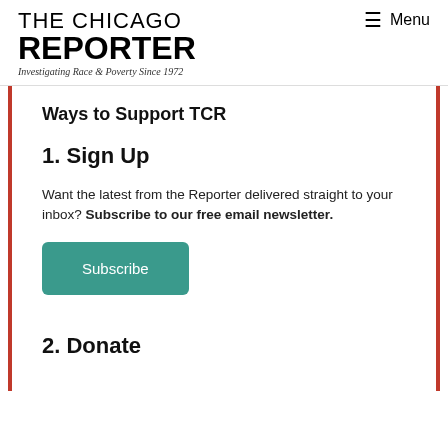THE CHICAGO REPORTER — Investigating Race & Poverty Since 1972 — Menu
Ways to Support TCR
1. Sign Up
Want the latest from the Reporter delivered straight to your inbox? Subscribe to our free email newsletter.
[Figure (other): Teal Subscribe button]
2. Donate